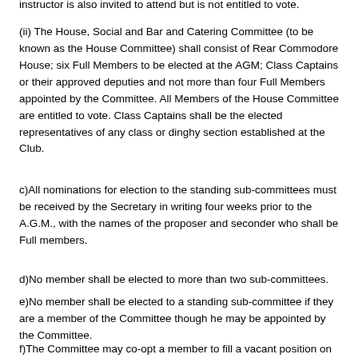instructor is also invited to attend but is not entitled to vote.
(ii) The House, Social and Bar and Catering Committee (to be known as the House Committee) shall consist of Rear Commodore House; six Full Members to be elected at the AGM; Class Captains or their approved deputies and not more than four Full Members appointed by the Committee. All Members of the House Committee are entitled to vote. Class Captains shall be the elected representatives of any class or dinghy section established at the Club.
c)All nominations for election to the standing sub-committees must be received by the Secretary in writing four weeks prior to the A.G.M., with the names of the proposer and seconder who shall be Full members.
d)No member shall be elected to more than two sub-committees.
e)No member shall be elected to a standing sub-committee if they are a member of the Committee though he may be appointed by the Committee.
f)The Committee may co-opt a member to fill a vacant position on